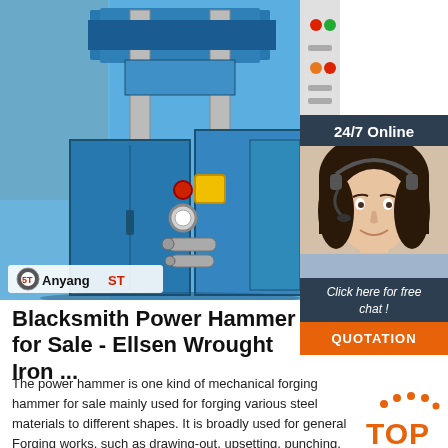[Figure (photo): Blue industrial blacksmith power hammer machine (Anyang ST brand) on factory floor, with yellow and red control buttons, gauge, and pipes visible on the front panel. Logo reads '5T Anyang ST' in bottom left corner.]
[Figure (photo): Customer service representative (woman with headset, smiling) with '24/7 Online' header, 'Click here for free chat!' text, and an orange QUOTATION button below.]
Blacksmith Power Hammer for Sale - Ellsen Wrought Iron ...
The power hammer is one kind of mechanical forging hammer for sale mainly used for forging various steel materials to different shapes. It is broadly used for general Forging works, such as drawing-out, upsetting, punching, chiseling, forging welding, bending and